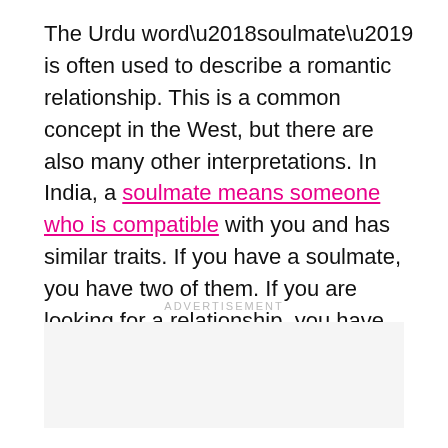The Urdu word‘soulmate’ is often used to describe a romantic relationship. This is a common concept in the West, but there are also many other interpretations. In India, a soulmate means someone who is compatible with you and has similar traits. If you have a soulmate, you have two of them. If you are looking for a relationship, you have found your soulmate.
ADVERTISEMENT